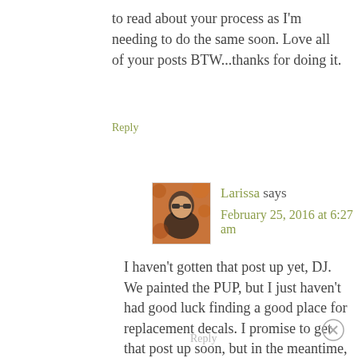to read about your process as I'm needing to do the same soon. Love all of your posts BTW...thanks for doing it.
Reply
[Figure (photo): Avatar photo of Larissa, a person wearing sunglasses outdoors with autumn foliage background]
Larissa says
February 25, 2016 at 6:27 am
I haven't gotten that post up yet, DJ. We painted the PUP, but I just haven't had good luck finding a good place for replacement decals. I promise to get that post up soon, but in the meantime, feel free to e-mail me if you have any questions on the painting process. 🙂
Reply